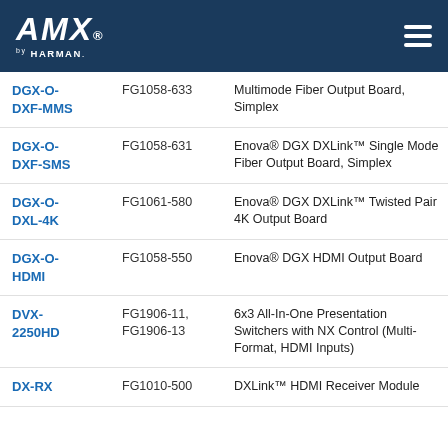AMX by HARMAN
| Model | SKU | Description |
| --- | --- | --- |
| DGX-O-DXF-MMS | FG1058-633 | Multimode Fiber Output Board, Simplex |
| DGX-O-DXF-SMS | FG1058-631 | Enova® DGX DXLink™ Single Mode Fiber Output Board, Simplex |
| DGX-O-DXL-4K | FG1061-580 | Enova® DGX DXLink™ Twisted Pair 4K Output Board |
| DGX-O-HDMI | FG1058-550 | Enova® DGX HDMI Output Board |
| DVX-2250HD | FG1906-11, FG1906-13 | 6x3 All-In-One Presentation Switchers with NX Control (Multi-Format, HDMI Inputs) |
| DX-RX | FG1010-500 | DXLink™ HDMI Receiver Module |